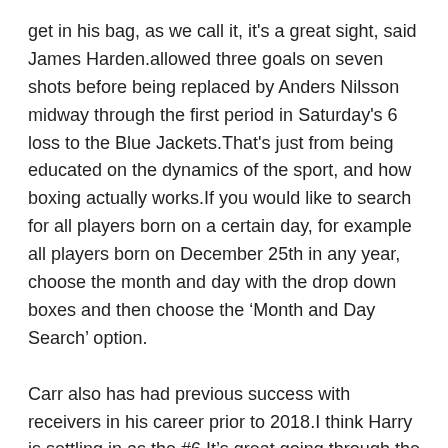get in his bag, as we call it, it's a great sight, said James Harden.allowed three goals on seven shots before being replaced by Anders Nilsson midway through the first period in Saturday's 6 loss to the Blue Jackets.That's just from being educated on the dynamics of the sport, and how boxing actually works.If you would like to search for all players born on a certain day, for example all players born on December 25th in any year, choose the month and day with the drop down boxes and then choose the ‘Month and Day Search’ option.
Carr also has had previous success with receivers in his career prior to 2018.I think Harry is settling in as the #6.It’s great going through the tape with those coaches.Almost everyone offers roadside assistance, a CARFAX report, and even a satellite radio trial for vehicles equipped with